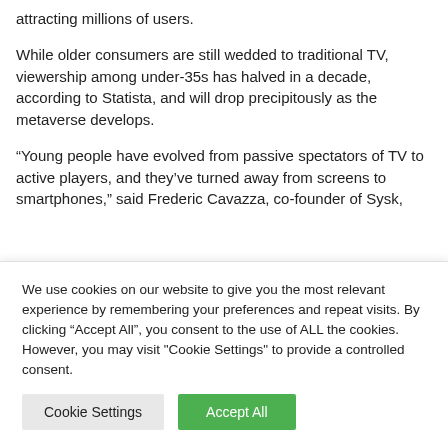attracting millions of users.
While older consumers are still wedded to traditional TV, viewership among under-35s has halved in a decade, according to Statista, and will drop precipitously as the metaverse develops.
“Young people have evolved from passive spectators of TV to active players, and they’ve turned away from screens to smartphones,” said Frederic Cavazza, co-founder of Sysk,
We use cookies on our website to give you the most relevant experience by remembering your preferences and repeat visits. By clicking “Accept All”, you consent to the use of ALL the cookies. However, you may visit "Cookie Settings" to provide a controlled consent.